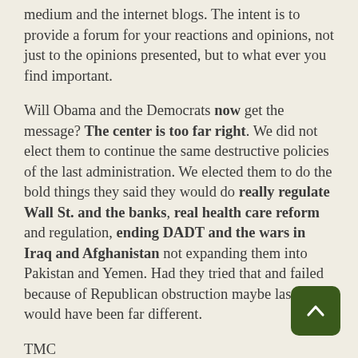medium and the internet blogs. The intent is to provide a forum for your reactions and opinions, not just to the opinions presented, but to what ever you find important.
Will Obama and the Democrats now get the message? The center is too far right. We did not elect them to continue the same destructive policies of the last administration. We elected them to do the bold things they said they would do really regulate Wall St. and the banks, real health care reform and regulation, ending DADT and the wars in Iraq and Afghanistan not expanding them into Pakistan and Yemen. Had they tried that and failed because of Republican obstruction maybe last night would have been far different.
TMC
Glenn Greenwald: Pundit sloth: blaming the Left